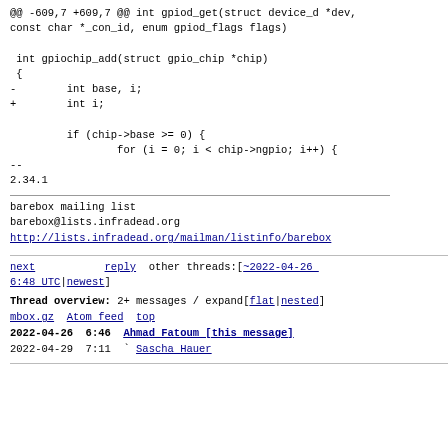@@ -609,7 +609,7 @@ int gpiod_get(struct device_d *dev,
const char *_con_id, enum gpiod_flags flags)

 int gpiochip_add(struct gpio_chip *chip)
 {
-        int base, i;
+        int i;

         if (chip->base >= 0) {
                 for (i = 0; i < chip->ngpio; i++) {
--
2.34.1
barebox mailing list
barebox@lists.infradead.org
http://lists.infradead.org/mailman/listinfo/barebox
next    reply   other threads:[~2022-04-26 6:48 UTC|newest]
Thread overview: 2+ messages / expand[flat|nested]
mbox.gz  Atom feed  top
2022-04-26  6:46  Ahmad Fatoum [this message]
2022-04-29  7:11  ` Sascha Hauer